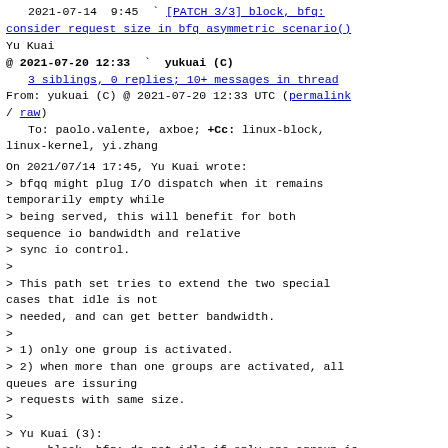2021-07-14  9:45  `  [PATCH 3/3] block, bfq: consider request size in bfq asymmetric scenario()
Yu Kuai
@ 2021-07-20 12:33  `  yukuai (C)
3 siblings, 0 replies; 10+ messages in thread
From: yukuai (C) @ 2021-07-20 12:33 UTC (permalink / raw)
To: paolo.valente, axboe; +Cc: linux-block, linux-kernel, yi.zhang
On 2021/07/14 17:45, Yu Kuai wrote:
> bfqq might plug I/O dispatch when it remains temporarily empty while
> being served, this will benefit for both sequence io bandwidth and relative
> sync io control.
>
> This path set tries to extend the two special cases that idle is not
> needed, and can get better bandwidth.
>
> 1) only one group is activated.
> 2) when more than one groups are activated, all queues are issuring
> requests with same size.
>
> Yu Kuai (3):
>    block, bfq: do not idle if only one cgroup is activated
>    block, bfq: add support to record request